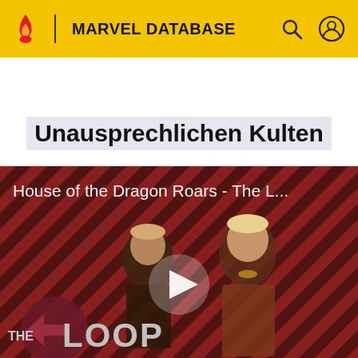MARVEL DATABASE
MARVEL DATABASE
Unausprechlichen Kulten
[Figure (screenshot): Video thumbnail for 'House of the Dragon Roars - The L...' showing two characters from House of the Dragon against a diagonal red/dark stripe background, with a play button in the center and 'THE LOOP' logo at the bottom left.]